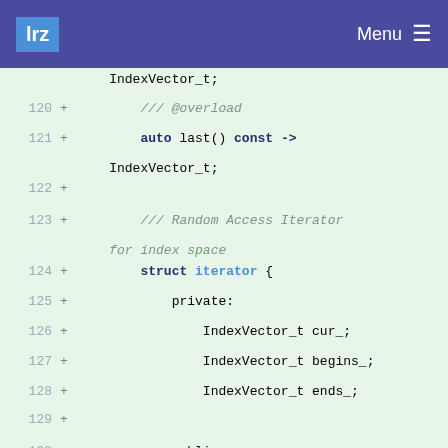lrz  Menu
[Figure (screenshot): Code diff view showing C++ code lines 120-133 with line numbers, plus signs indicating additions, and syntax highlighting. Code includes iterator struct definition with private members IndexVector_t cur_, begins_, ends_ and public using declarations.]